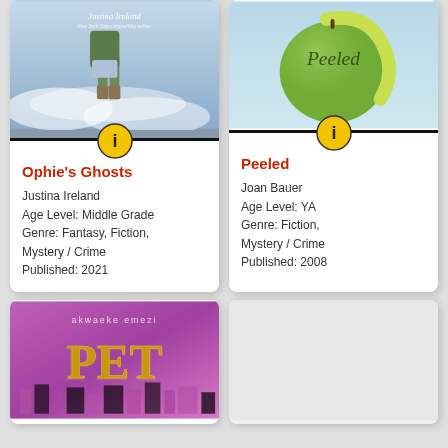[Figure (illustration): Book cover for Ophie's Ghosts by Justina Ireland - figure in green coat walking on water/clouds, blue sky background]
Ophie's Ghosts
Justina Ireland
Age Level: Middle Grade
Genre: Fantasy, Fiction, Mystery / Crime
Published: 2021
[Figure (illustration): Book cover for Peeled by Joan Bauer - green apple being peeled with text 'Peeled' on it]
Peeled
Joan Bauer
Age Level: YA
Genre: Fiction, Mystery / Crime
Published: 2008
[Figure (illustration): Book cover for Pet by Akwaeke Emezi - pink/purple background with gold ornate letters spelling PET over a cityscape]
[Figure (illustration): Partial book cover visible at bottom right, light grey/white]